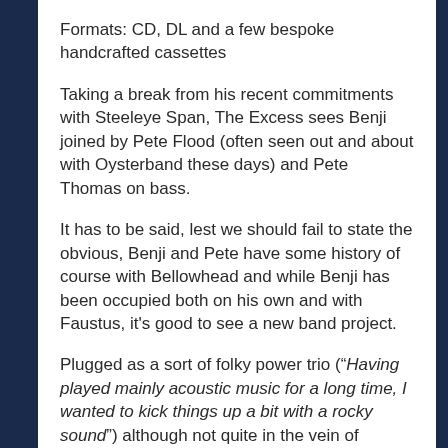Formats: CD, DL and a few bespoke handcrafted cassettes
Taking a break from his recent commitments with Steeleye Span, The Excess sees Benji  joined by Pete Flood (often seen out and about with Oysterband these days) and Pete Thomas on bass.
It has to be said, lest we should fail to state the obvious, Benji and Pete have some history of course with Bellowhead and while Benji has been occupied both on his own and with Faustus, it's good to see a new band project.
Plugged as a sort of folky power trio ("Having played mainly acoustic music for a long time, I wanted to kick things up a bit with a rocky sound") although not quite in the vein of Cream or Hendrix